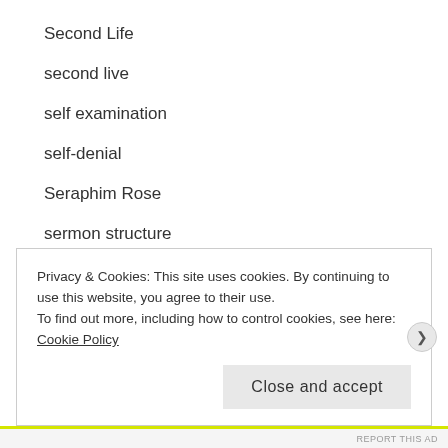Second Life
second live
self examination
self-denial
Seraphim Rose
sermon structure
sermons
sexual abuse
sexuality
sin
Privacy & Cookies: This site uses cookies. By continuing to use this website, you agree to their use.
To find out more, including how to control cookies, see here: Cookie Policy
Close and accept